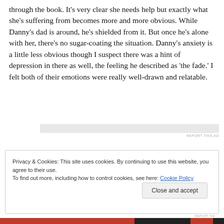through the book. It's very clear she needs help but exactly what she's suffering from becomes more and more obvious. While Danny's dad is around, he's shielded from it. But once he's alone with her, there's no sugar-coating the situation. Danny's anxiety is a little less obvious though I suspect there was a hint of depression in there as well, the feeling he described as 'the fade.' I felt both of their emotions were really well-drawn and relatable.
Privacy & Cookies: This site uses cookies. By continuing to use this website, you agree to their use. To find out more, including how to control cookies, see here: Cookie Policy
Close and accept